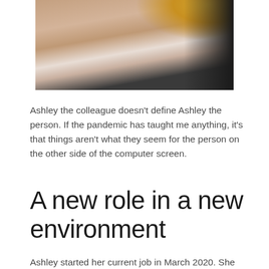[Figure (photo): A person wearing a beige/tan cardigan sweater with arms crossed, photographed from neck down. Another person with curly golden/blonde hair is partially visible in the upper right. Dark background on the right side.]
Ashley the colleague doesn't define Ashley the person. If the pandemic has taught me anything, it's that things aren't what they seem for the person on the other side of the computer screen.
A new role in a new environment
Ashley started her current job in March 2020. She had